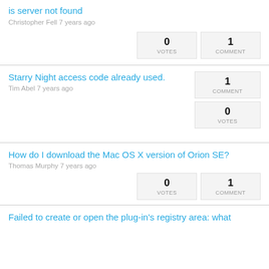is server not found
Christopher Fell 7 years ago
| VOTES | COMMENT |
| --- | --- |
| 0 | 1 |
Starry Night access code already used.
Tim Abel 7 years ago
| COMMENT | VOTES |
| --- | --- |
| 1 | 0 |
How do I download the Mac OS X version of Orion SE?
Thomas Murphy 7 years ago
| VOTES | COMMENT |
| --- | --- |
| 0 | 1 |
Failed to create or open the plug-in's registry area: what